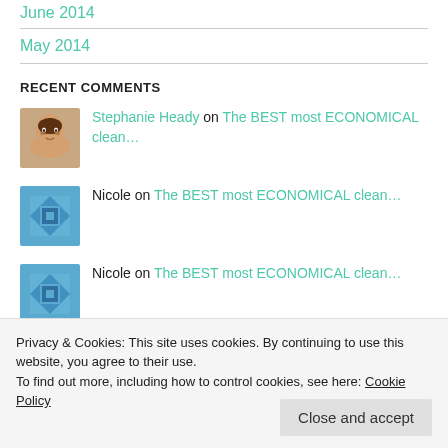June 2014
May 2014
RECENT COMMENTS
Stephanie Heady on The BEST most ECONOMICAL clean...
Nicole on The BEST most ECONOMICAL clean...
Nicole on The BEST most ECONOMICAL clean...
Privacy & Cookies: This site uses cookies. By continuing to use this website, you agree to their use. To find out more, including how to control cookies, see here: Cookie Policy